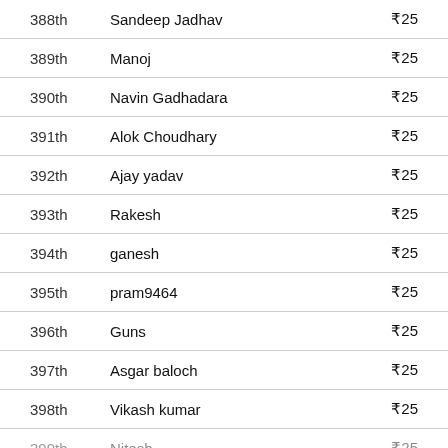| Rank | Name | Prize |
| --- | --- | --- |
| 388th | Sandeep Jadhav | ₹25 |
| 389th | Manoj | ₹25 |
| 390th | Navin Gadhadara | ₹25 |
| 391th | Alok Choudhary | ₹25 |
| 392th | Ajay yadav | ₹25 |
| 393th | Rakesh | ₹25 |
| 394th | ganesh | ₹25 |
| 395th | pram9464 | ₹25 |
| 396th | Guns | ₹25 |
| 397th | Asgar baloch | ₹25 |
| 398th | Vikash kumar | ₹25 |
| 399th | Nitesh... | ₹25 |